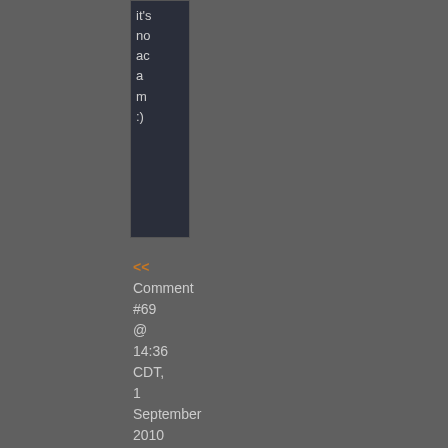[Figure (screenshot): Partially visible dark-themed comment box clipped at top, showing text characters vertically: it's, no, ac, a, m, :)]
<< Comment #69 @ 14:36 CDT, 1 September 2010 >>
[Figure (screenshot): Partially visible dark-themed comment box with orange/gray text running vertically, showing characters: E, )/, e, -, F, t, #, characters continuing below]